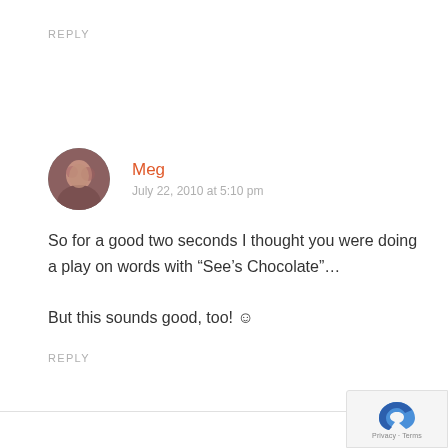REPLY
Meg
July 22, 2010 at 5:10 pm
So for a good two seconds I thought you were doing a play on words with “See’s Chocolate”…

But this sounds good, too! ☺
REPLY